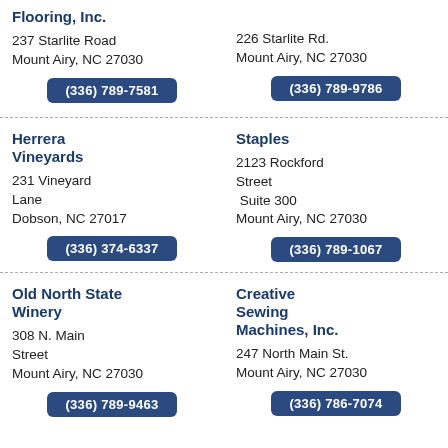Flooring, Inc.
237 Starlite Road
Mount Airy, NC 27030
(336) 789-7581
226 Starlite Rd.
Mount Airy, NC 27030
(336) 789-9786
Herrera Vineyards
231 Vineyard Lane
Dobson, NC 27017
(336) 374-6337
Staples
2123 Rockford Street
Suite 300
Mount Airy, NC 27030
(336) 789-1067
Old North State Winery
308 N. Main Street
Mount Airy, NC 27030
(336) 789-9463
Creative Sewing Machines, Inc.
247 North Main St.
Mount Airy, NC 27030
(336) 786-7074